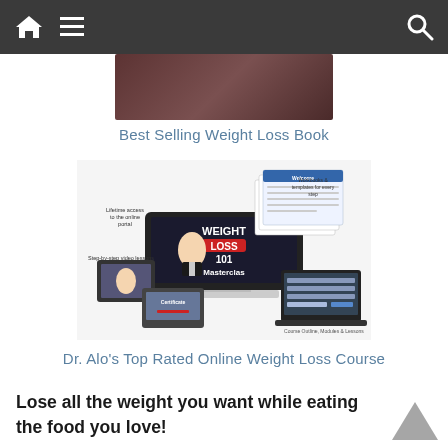Navigation bar with home, menu, and search icons
[Figure (screenshot): Partial top image of a car interior or dark background, cropped at top]
Best Selling Weight Loss Book
[Figure (photo): Dr. Alo's Weight Loss 101 Masterclass promotional image showing a computer monitor with 'WEIGHT LOSS 101 Masterclass' on screen, surrounded by tablets, books, workbooks. Text annotations: 'Lifetime access to the online portal', 'Step-by-step video lessons', 'Workbooks & templates for every step', 'Course Outline, Modules & Lessons']
Dr. Alo's Top Rated Online Weight Loss Course
Lose all the weight you want while eating the food you love!